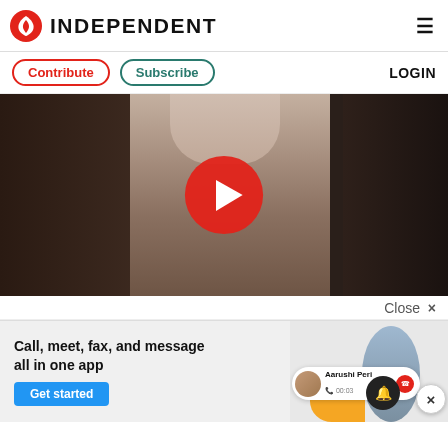INDEPENDENT
Contribute  Subscribe  LOGIN
[Figure (screenshot): Video player with red play button overlaid on a blurred video thumbnail showing a person]
Close ×
[Figure (screenshot): Advertisement banner: 'Call, meet, fax, and message all in one app' with Get started button, showing a call notification from Aarushi Peri, an orange blob graphic, and a person in blue]
×